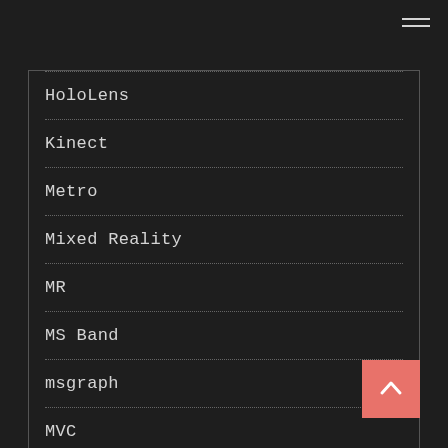HoloLens
Kinect
Metro
Mixed Reality
MR
MS Band
msgraph
MVC